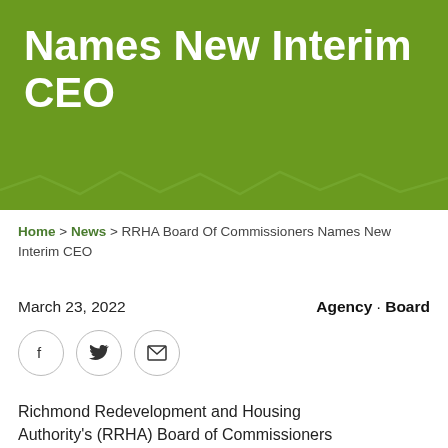Names New Interim CEO
Home > News > RRHA Board Of Commissioners Names New Interim CEO
March 23, 2022
Agency · Board
[Figure (illustration): Social sharing icons: Facebook, Twitter, Email in circular borders]
Richmond Redevelopment and Housing Authority's (RRHA) Board of Commissioners